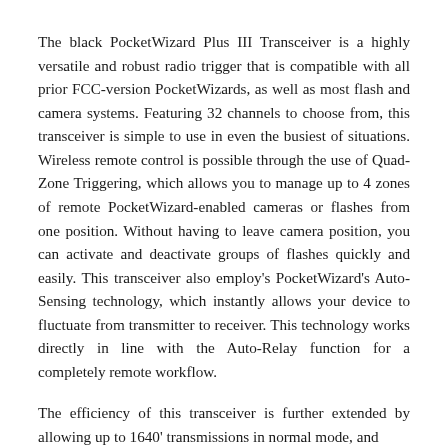The black PocketWizard Plus III Transceiver is a highly versatile and robust radio trigger that is compatible with all prior FCC-version PocketWizards, as well as most flash and camera systems. Featuring 32 channels to choose from, this transceiver is simple to use in even the busiest of situations. Wireless remote control is possible through the use of Quad-Zone Triggering, which allows you to manage up to 4 zones of remote PocketWizard-enabled cameras or flashes from one position. Without having to leave camera position, you can activate and deactivate groups of flashes quickly and easily. This transceiver also employ's PocketWizard's Auto-Sensing technology, which instantly allows your device to fluctuate from transmitter to receiver. This technology works directly in line with the Auto-Relay function for a completely remote workflow.
The efficiency of this transceiver is further extended by allowing up to 1640' transmissions in normal mode, and